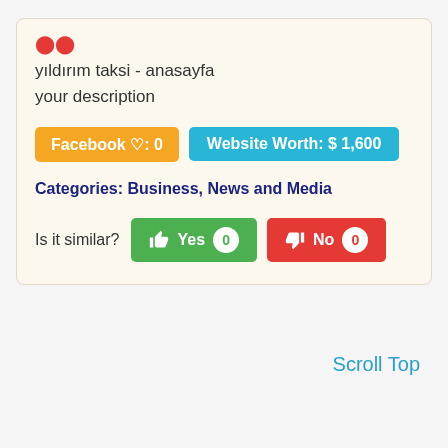[Figure (other): Two small red dot/circle icons]
yıldırım taksi - anasayfa
your description
Facebook ♡: 0
Website Worth: $ 1,600
Categories: Business, News and Media
Is it similar?
Yes 0
No 0
Scroll Top